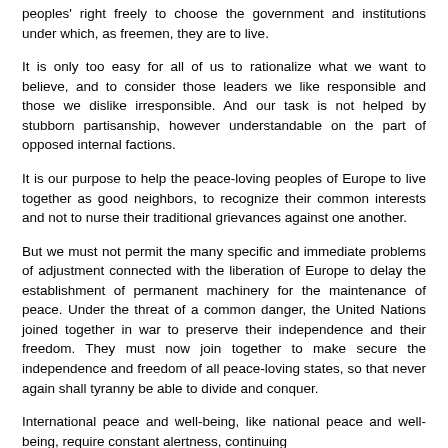peoples' right freely to choose the government and institutions under which, as freemen, they are to live.
It is only too easy for all of us to rationalize what we want to believe, and to consider those leaders we like responsible and those we dislike irresponsible. And our task is not helped by stubborn partisanship, however understandable on the part of opposed internal factions.
It is our purpose to help the peace-loving peoples of Europe to live together as good neighbors, to recognize their common interests and not to nurse their traditional grievances against one another.
But we must not permit the many specific and immediate problems of adjustment connected with the liberation of Europe to delay the establishment of permanent machinery for the maintenance of peace. Under the threat of a common danger, the United Nations joined together in war to preserve their independence and their freedom. They must now join together to make secure the independence and freedom of all peace-loving states, so that never again shall tyranny be able to divide and conquer.
International peace and well-being, like national peace and well-being, require constant alertness, continuing cooperation, and organized effort.